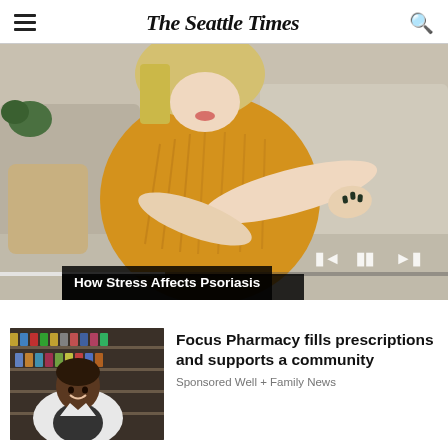The Seattle Times
[Figure (photo): Woman in yellow sweater sitting on a couch, scratching her arm (psoriasis-related image). Media player controls and progress bar overlay at bottom. Caption: How Stress Affects Psoriasis]
How Stress Affects Psoriasis
[Figure (photo): Pharmacist in white coat smiling in front of pharmacy shelves]
Focus Pharmacy fills prescriptions and supports a community
Sponsored Well + Family News